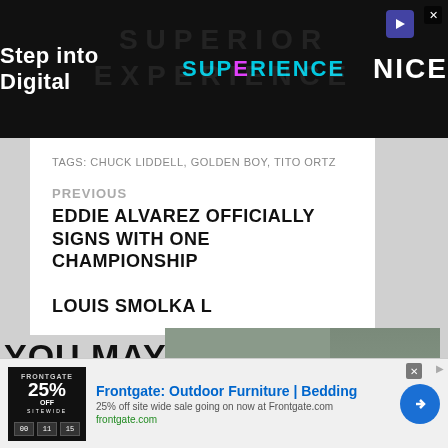[Figure (screenshot): Top advertisement banner: dark background with text 'Step into Digital SUPERIENCE' and 'NICE' logo]
TAGS: CHUCK LIDDELL, GOLDEN BOY, TITO ORTZ
PREVIOUS
EDDIE ALVAREZ OFFICIALLY SIGNS WITH ONE CHAMPIONSHIP
LOUIS SMOLKA L...
[Figure (screenshot): Video overlay showing Cage Warriors 142 SAM CREASEY promotional card with fighter photo]
Sam Creasey Calls for Shot
YOU MAY AL...
[Figure (screenshot): Bottom advertisement: Frontgate Outdoor Furniture | Bedding, 25% off site wide sale]